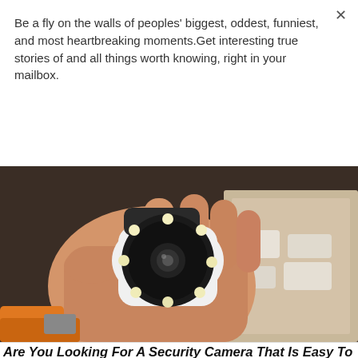Be a fly on the walls of peoples' biggest, oddest, funniest, and most heartbreaking moments.Get interesting true stories of and all things worth knowing, right in your mailbox.
Subscribe
[Figure (photo): A hand holding a small white WiFi security camera with black LED ring, shown being unboxed with cardboard and packaging materials in the background.]
Are You Looking For A Security Camera That Is Easy To Install?
Trending Gadgets
Read More